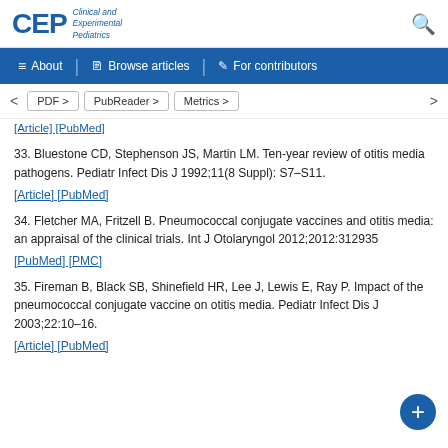CEP Clinical and Experimental Pediatrics
About | Browse articles | For contributors
PDF > | PubReader > | Metrics >
[Article] [PubMed]
33. Bluestone CD, Stephenson JS, Martin LM. Ten-year review of otitis media pathogens. Pediatr Infect Dis J 1992;11(8 Suppl): S7–S11.
[Article] [PubMed]
34. Fletcher MA, Fritzell B. Pneumococcal conjugate vaccines and otitis media: an appraisal of the clinical trials. Int J Otolaryngol 2012;2012:312935
[PubMed] [PMC]
35. Fireman B, Black SB, Shinefield HR, Lee J, Lewis E, Ray P. Impact of the pneumococcal conjugate vaccine on otitis media. Pediatr Infect Dis J 2003;22:10–16.
[Article] [PubMed]